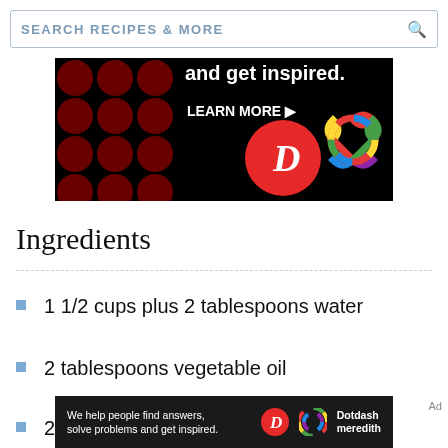SEARCH RECIPES & MORE
[Figure (screenshot): Advertisement banner with dark background, red polka dots, text 'and get inspired.' with 'LEARN MORE' button, Dotdash D logo in red circle, and Meredith colorful knot logo]
Ingredients
1 1/2 cups plus 2 tablespoons water
2 tablespoons vegetable oil
2 teaspoons salt
[Figure (screenshot): Bottom ad banner: 'We help people find answers, solve problems and get inspired.' with Dotdash D logo and Dotdash Meredith branding]